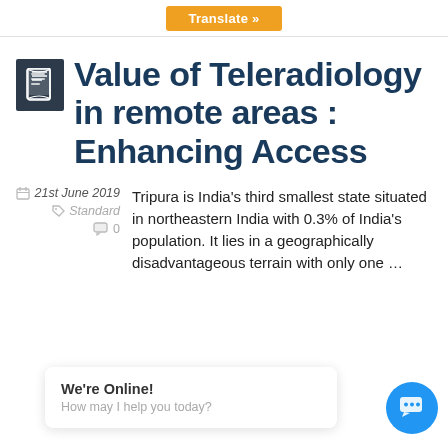Translate »
Value of Teleradiology in remote areas : Enhancing Access
21st June 2019  Standard  0
Tripura is India's third smallest state situated in northeastern India with 0.3% of India's population. It lies in a geographically disadvantageous terrain with only one …
We're Online! How may I help you today?